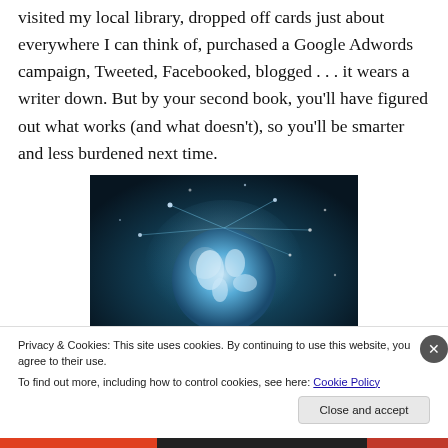visited my local library, dropped off cards just about everywhere I can think of, purchased a Google Adwords campaign, Tweeted, Facebooked, blogged . . . it wears a writer down. But by your second book, you'll have figured out what works (and what doesn't), so you'll be smarter and less burdened next time.
[Figure (photo): A glowing blue globe with network connections and light particles against a dark teal background]
Privacy & Cookies: This site uses cookies. By continuing to use this website, you agree to their use.
To find out more, including how to control cookies, see here: Cookie Policy